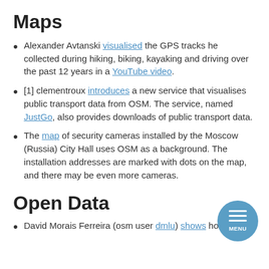Maps
Alexander Avtanski visualised the GPS tracks he collected during hiking, biking, kayaking and driving over the past 12 years in a YouTube video.
[1] clementroux introduces a new service that visualises public transport data from OSM. The service, named JustGo, also provides downloads of public transport data.
The map of security cameras installed by the Moscow (Russia) City Hall uses OSM as a background. The installation addresses are marked with dots on the map, and there may be even more cameras.
Open Data
David Morais Ferreira (osm user dmlu) shows how